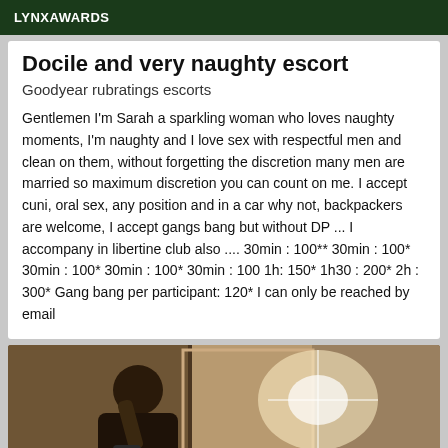LYNXAWARDS
Docile and very naughty escort
Goodyear rubratings escorts
Gentlemen I'm Sarah a sparkling woman who loves naughty moments, I'm naughty and I love sex with respectful men and clean on them, without forgetting the discretion many men are married so maximum discretion you can count on me. I accept cuni, oral sex, any position and in a car why not, backpackers are welcome, I accept gangs bang but without DP ... I accompany in libertine club also .... 30min : 100** 30min : 100* 30min : 100* 30min : 100* 30min : 100 1h: 150* 1h30 : 200* 2h : 300* Gang bang per participant: 120* I can only be reached by email
[Figure (photo): Partial photo of a person in a bathroom, taking a selfie in a mirror with bright light flare.]